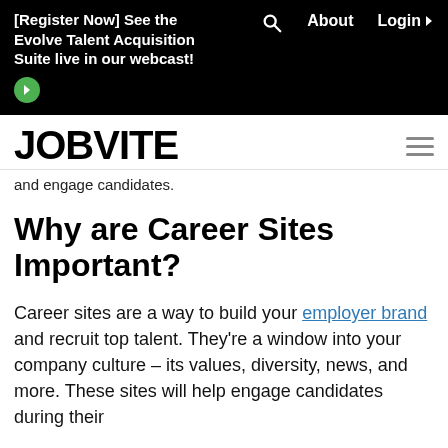[Register Now] See the Evolve Talent Acquisition Suite live in our webcast!
JOBVITE
and engage candidates.
Why are Career Sites Important?
Career sites are a way to build your employer brand and recruit top talent. They're a window into your company culture – its values, diversity, news, and more. These sites will help engage candidates during their